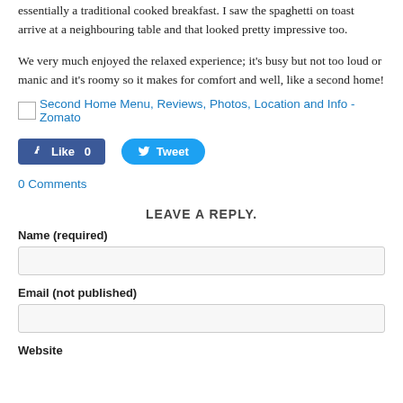essentially a traditional cooked breakfast. I saw the spaghetti on toast arrive at a neighbouring table and that looked pretty impressive too.
We very much enjoyed the relaxed experience; it's busy but not too loud or manic and it's roomy so it makes for comfort and well, like a second home!
Second Home Menu, Reviews, Photos, Location and Info - Zomato
Like 0
Tweet
0 Comments
LEAVE A REPLY.
Name (required)
Email (not published)
Website